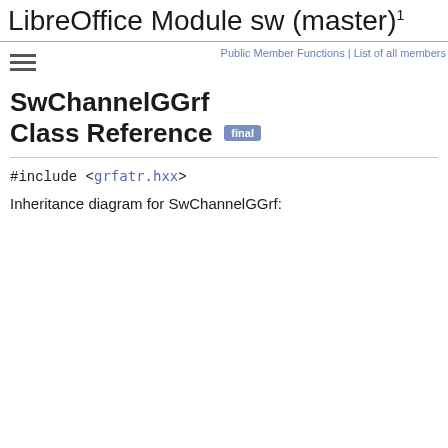LibreOffice Module sw (master) 1
SwChannelGGrf
Class Reference [final]
Public Member Functions | List of all members
#include <grfatr.hxx>
Inheritance diagram for SwChannelGGrf: